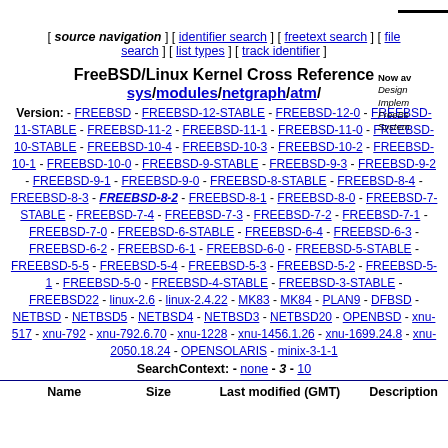[ source navigation ] [ identifier search ] [ freetext search ] [ file search ] [ list types ] [ track identifier ]
FreeBSD/Linux Kernel Cross Reference sys/modules/netgraph/atm/
Version: - FREEBSD - FREEBSD-12-STABLE - FREEBSD-12-0 - FREEBSD-11-STABLE - FREEBSD-11-2 - FREEBSD-11-1 - FREEBSD-11-0 - FREEBSD-10-STABLE - FREEBSD-10-4 - FREEBSD-10-3 - FREEBSD-10-2 - FREEBSD-10-1 - FREEBSD-10-0 - FREEBSD-9-STABLE - FREEBSD-9-3 - FREEBSD-9-2 - FREEBSD-9-1 - FREEBSD-9-0 - FREEBSD-8-STABLE - FREEBSD-8-4 - FREEBSD-8-3 - FREEBSD-8-2 - FREEBSD-8-1 - FREEBSD-8-0 - FREEBSD-7-STABLE - FREEBSD-7-4 - FREEBSD-7-3 - FREEBSD-7-2 - FREEBSD-7-1 - FREEBSD-7-0 - FREEBSD-6-STABLE - FREEBSD-6-4 - FREEBSD-6-3 - FREEBSD-6-2 - FREEBSD-6-1 - FREEBSD-6-0 - FREEBSD-5-STABLE - FREEBSD-5-5 - FREEBSD-5-4 - FREEBSD-5-3 - FREEBSD-5-2 - FREEBSD-5-1 - FREEBSD-5-0 - FREEBSD-4-STABLE - FREEBSD-3-STABLE - FREEBSD22 - linux-2.6 - linux-2.4.22 - MK83 - MK84 - PLAN9 - DFBSD - NETBSD - NETBSD5 - NETBSD4 - NETBSD3 - NETBSD20 - OPENBSD - xnu-517 - xnu-792 - xnu-792.6.70 - xnu-1228 - xnu-1456.1.26 - xnu-1699.24.8 - xnu-2050.18.24 - OPENSOLARIS - minix-3-1-1
SearchContext: - none - 3 - 10
| Name | Size | Last modified (GMT) | Description |
| --- | --- | --- | --- |